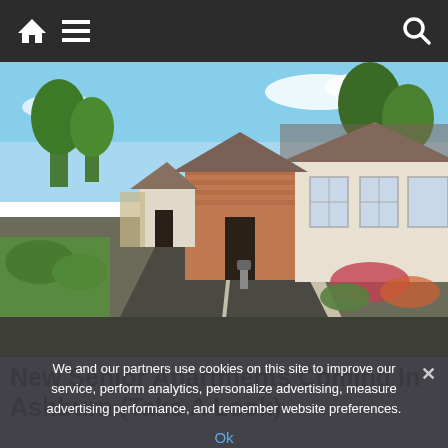Navigation bar with home icon, menu icon, and search icon
[Figure (photo): Exterior view of a residential senior apartment community with houses along a paved driveway, green landscaping, blue sky, and brick/timber facade buildings]
New Senior Apartments Coming In Ashburn (Take A Look)
We and our partners use cookies on this site to improve our service, perform analytics, personalize advertising, measure advertising performance, and remember website preferences.
Ok